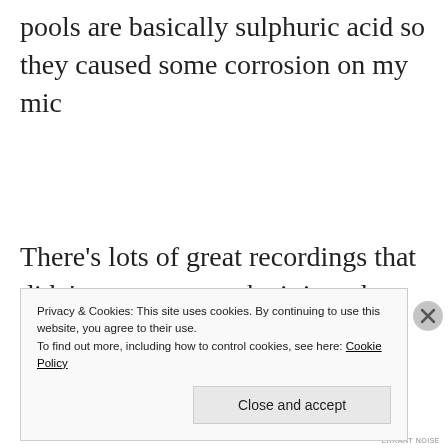pools are basically sulphuric acid so they caused some corrosion on my mic
There's lots of great recordings that didn't manage to make it into the album. There's one of...
Privacy & Cookies: This site uses cookies. By continuing to use this website, you agree to their use.
To find out more, including how to control cookies, see here: Cookie Policy
Close and accept